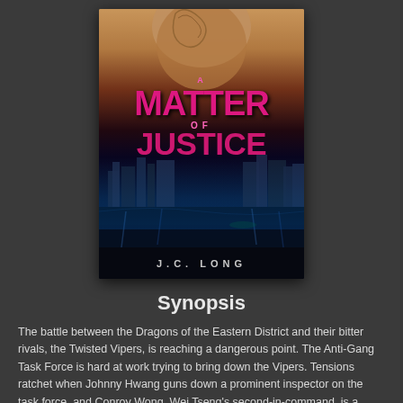[Figure (illustration): Book cover for 'A Matter of Justice' by J.C. Long. Shows a muscular shirtless man with tattoos against a glowing city skyline at night, with the title text in large pink/magenta letters and the author name on a dark bar at the bottom.]
Synopsis
The battle between the Dragons of the Eastern District and their bitter rivals, the Twisted Vipers, is reaching a dangerous point. The Anti-Gang Task Force is hard at work trying to bring down the Vipers. Tensions ratchet when Johnny Hwang guns down a prominent inspector on the task force, and Conroy Wong, Wei Tseng's second-in-command, is a witness. Now, to keep him safe long enough to locate a